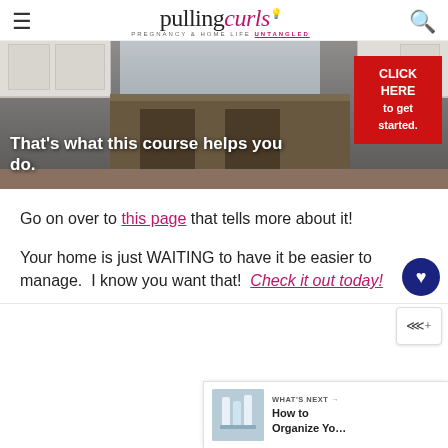pulling curls — PREGNANCY & HOME LIFE UNTANGLED
[Figure (photo): Kitchen background image with island and stools. Overlay text: 'That’s what this course helps you do.' Red button: 'CLICK HERE to get started.']
Go on over to this page that tells more about it!
Your home is just WAITING to have it be easier to manage. I know you want that! Check it out today!
[Figure (screenshot): What's Next panel showing thumbnail and text: 'How to Organize Yo...']